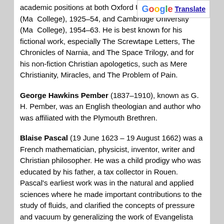academic positions at both Oxford University (Magdalen College), 1925–54, and Cambridge University (Magdalene College), 1954–63. He is best known for his fictional work, especially The Screwtape Letters, The Chronicles of Narnia, and The Space Trilogy, and for his non-fiction Christian apologetics, such as Mere Christianity, Miracles, and The Problem of Pain.
George Hawkins Pember (1837–1910), known as G. H. Pember, was an English theologian and author who was affiliated with the Plymouth Brethren.
Blaise Pascal (19 June 1623 – 19 August 1662) was a French mathematician, physicist, inventor, writer and Christian philosopher. He was a child prodigy who was educated by his father, a tax collector in Rouen. Pascal's earliest work was in the natural and applied sciences where he made important contributions to the study of fluids, and clarified the concepts of pressure and vacuum by generalizing the work of Evangelista Torricelli. Pascal also wrote in defense of the scientific method.